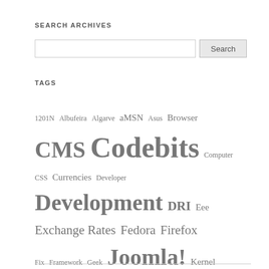SEARCH ARCHIVES
Search (input box and button)
TAGS
1201N Albufeira Algarve aMSN Asus Browser CMS Codebits Computer CSS Currencies Developer Development DRI Eee Exchange Rates Fedora Firefox Fix Framework Geek Joomla! Kernel Linux Mountain Bikes MTB Music MVC MySQL Patch PHP Python Sapo Security Series Source SugarCRM SugarCRM 6.X TV Ubuntu University Views Vulnerabilities Web Xubuntu